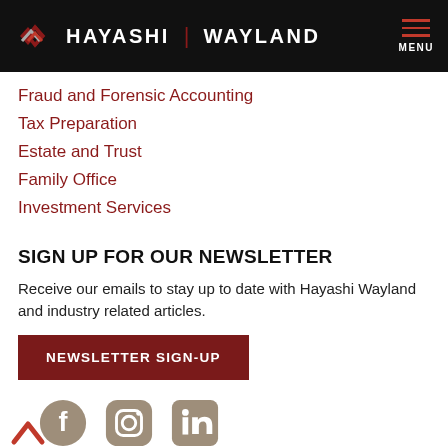HAYASHI | WAYLAND — MENU
Fraud and Forensic Accounting
Tax Preparation
Estate and Trust
Family Office
Investment Services
SIGN UP FOR OUR NEWSLETTER
Receive our emails to stay up to date with Hayashi Wayland and industry related articles.
NEWSLETTER SIGN-UP
[Figure (other): Social media icons: Facebook, Instagram, LinkedIn; with an upward arrow chevron]